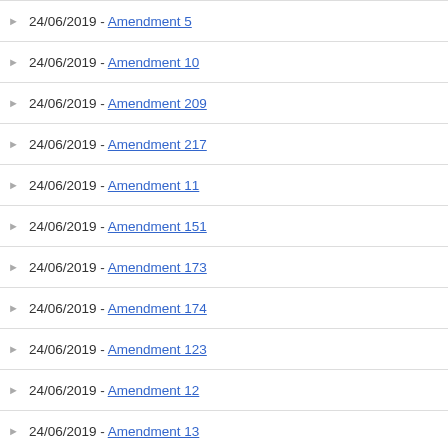24/06/2019 - Amendment 5
24/06/2019 - Amendment 10
24/06/2019 - Amendment 209
24/06/2019 - Amendment 217
24/06/2019 - Amendment 11
24/06/2019 - Amendment 151
24/06/2019 - Amendment 173
24/06/2019 - Amendment 174
24/06/2019 - Amendment 123
24/06/2019 - Amendment 12
24/06/2019 - Amendment 13
24/06/2019 - Amendment 208
24/06/2019 - Amendment 150
24/06/2019 - Amendment 14